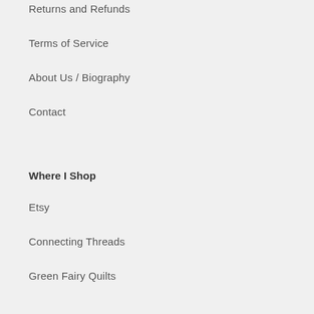Returns and Refunds
Terms of Service
About Us / Biography
Contact
Where I Shop
Etsy
Connecting Threads
Green Fairy Quilts